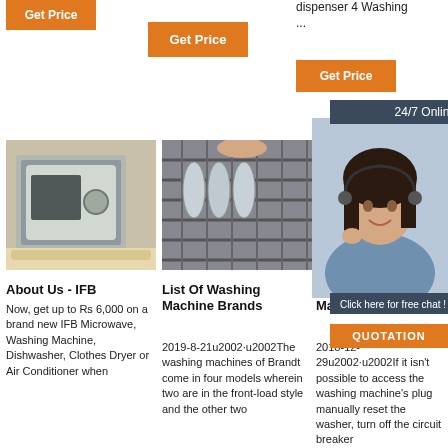[Figure (other): Orange Get Price button top left]
[Figure (other): Orange Get Price button top middle]
dispenser 4 Washing ...
[Figure (other): Orange Get Price button top right]
[Figure (other): 24/7 Online customer service panel with woman wearing headset]
[Figure (photo): Photo of a countertop dishwasher or microwave appliance in packaging]
[Figure (photo): Photo of dishwasher rack with dishes being loaded]
[Figure (photo): Partial photo of dishwasher interior]
About Us - IFB
Now, get up to Rs 6,000 on a brand new IFB Microwave, Washing Machine, Dishwasher, Clothes Dryer or Air Conditioner when
List Of Washing Machine Brands
2019-8-21u2002·u2002The washing machines of Brandt come in four models wherein two are in the front-load style and the other two
Reset B... For Wa... Machines
2018-12-29u2002·u2002If it isn't possible to access the washing machine's plug manually reset the washer, turn off the circuit breaker